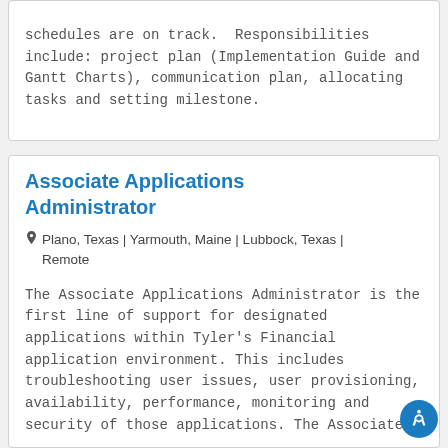schedules are on track.  Responsibilities include: project plan (Implementation Guide and Gantt Charts), communication plan, allocating tasks and setting milestone.
Associate Applications Administrator
Plano, Texas | Yarmouth, Maine | Lubbock, Texas | Remote
The Associate Applications Administrator is the first line of support for designated applications within Tyler's Financial application environment. This includes troubleshooting user issues, user provisioning, availability, performance, monitoring and security of those applications. The Associate